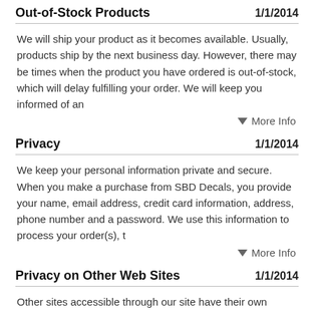Out-of-Stock Products   1/1/2014
We will ship your product as it becomes available. Usually, products ship by the next business day. However, there may be times when the product you have ordered is out-of-stock, which will delay fulfilling your order. We will keep you informed of an
▼ More Info
Privacy   1/1/2014
We keep your personal information private and secure. When you make a purchase from SBD Decals, you provide your name, email address, credit card information, address, phone number and a password. We use this information to process your order(s), t
▼ More Info
Privacy on Other Web Sites   1/1/2014
Other sites accessible through our site have their own privacy policies and data collection practices. Please consult each site's